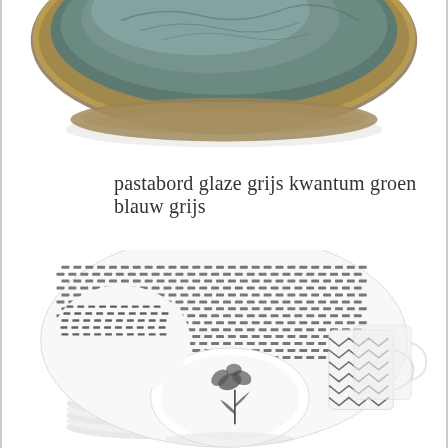[Figure (photo): Top portion of a ceramic pasta bowl with greenish-brown glaze, partially cropped at top of page]
pastabord glaze grijs kwantum groen blauw grijs
[Figure (photo): Stack of white dinnerware with black geometric basket-weave and floral pattern, including plates, bowls, and mugs with chevron design, partially cropped at bottom of page]